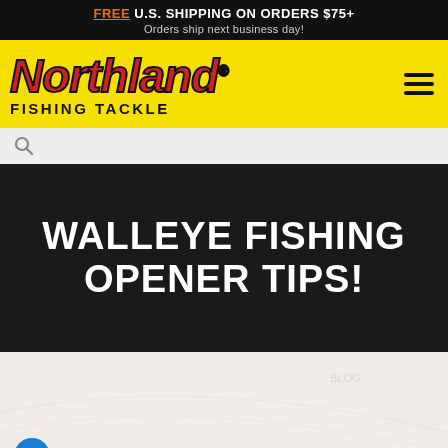FREE U.S. SHIPPING ON ORDERS $75+ Orders ship next business day!
[Figure (logo): Northland Fishing Tackle logo on yellow background with hamburger menu icon]
[Figure (other): Search icon (magnifying glass) on light gray background]
WALLEYE FISHING OPENER TIPS!
[Figure (other): Light beige/cream background section with accessibility icon button and partial byline text starting with 'By Mike']